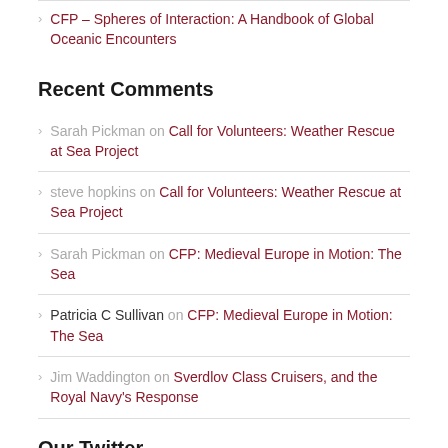CFP – Spheres of Interaction: A Handbook of Global Oceanic Encounters
Recent Comments
Sarah Pickman on Call for Volunteers: Weather Rescue at Sea Project
steve hopkins on Call for Volunteers: Weather Rescue at Sea Project
Sarah Pickman on CFP: Medieval Europe in Motion: The Sea
Patricia C Sullivan on CFP: Medieval Europe in Motion: The Sea
Jim Waddington on Sverdlov Class Cruisers, and the Royal Navy's Response
Our Twitter